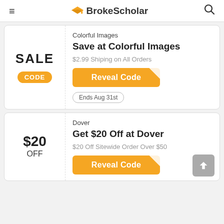BrokeScholar
SALE
CODE
Colorful Images
Save at Colorful Images
$2.99 Shiping on All Orders
Reveal Code
Ends Aug 31st
$20 OFF
Dover
Get $20 Off at Dover
$20 Off Sitewide Order Over $50
Reveal Code